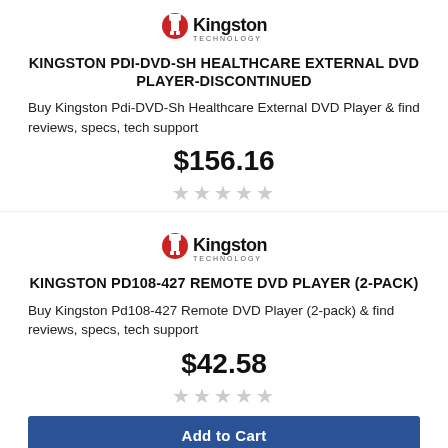[Figure (logo): Kingston Technology logo - red figure with Kingston wordmark and TECHNOLOGY text]
KINGSTON PDI-DVD-SH HEALTHCARE EXTERNAL DVD PLAYER-DISCONTINUED
Buy Kingston Pdi-DVD-Sh Healthcare External DVD Player & find reviews, specs, tech support
$156.16
[Figure (other): 5 empty star rating icons]
[Figure (logo): Kingston Technology logo - red figure with Kingston wordmark and TECHNOLOGY text]
KINGSTON PD108-427 REMOTE DVD PLAYER (2-PACK)
Buy Kingston Pd108-427 Remote DVD Player (2-pack) & find reviews, specs, tech support
$42.58
[Figure (other): 5 empty star rating icons]
Add to Cart